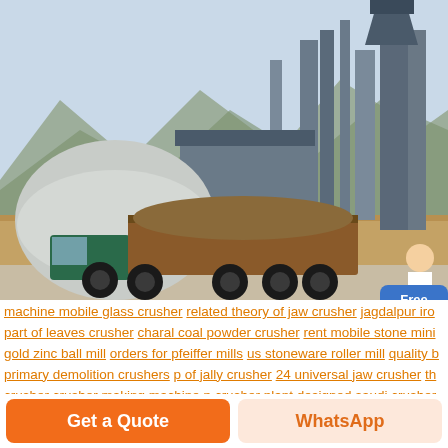[Figure (photo): Industrial mining or quarry site with a large dump truck loaded with material in the foreground, industrial processing towers and structures in the background, mountains visible behind the facility, and a customer service representative figure with a Free chat badge in the lower right corner.]
machine mobile glass crusher  related theory of jaw crusher  jagdalpur iro  part of leaves crusher  charal coal powder crusher  rent mobile stone mini  gold zinc ball mill  orders for pfeiffer mills  us stoneware roller mill  quality b  primary demolition crushers  p of jally crusher  24 universal jaw crusher  th  crusher  crusher making machine p  crusher plant designed saudi  crusher  sale sho...
Get a Quote
WhatsApp